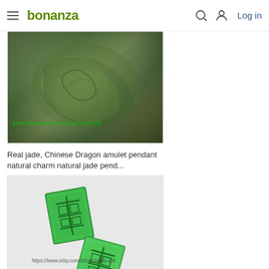bonanza — Log in
[Figure (photo): Carved green jade Chinese Dragon amulet pendant with watermark https://www.etsy.com/shop/JadeLuck]
Real jade, Chinese Dragon amulet pendant natural charm natural jade pend...
$28.99
[Figure (photo): Two green jade double happiness character carvings on light gray background with watermark https://www.etsy.com/shop/JadeLuck]